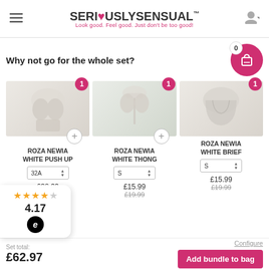SERIOUSLY SENSUAL™ — Look good. Feel good. Just don't be too good!
Why not go for the whole set?
[Figure (photo): Product image: Roza Newia White Push Up bra, front view model]
ROZA NEWIA WHITE PUSH UP
32A
£30.99 / £37.99
[Figure (photo): Product image: Roza Newia White Thong, back view model]
ROZA NEWIA WHITE THONG
S
£15.99 / £19.99
[Figure (photo): Product image: Roza Newia White Brief, close-up]
ROZA NEWIA WHITE BRIEF
S
£15.99 / £19.99
Set total: £62.97
Configure
Add bundle to bag